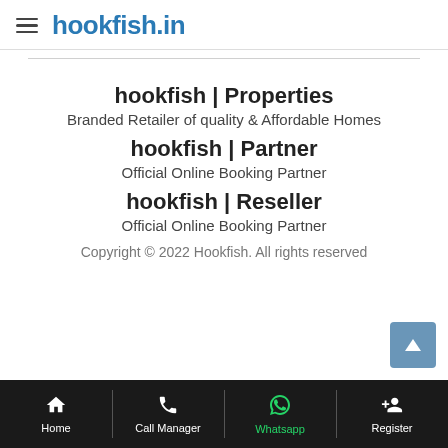hookfish.in
hookfish | Properties
Branded Retailer of quality & Affordable Homes
hookfish | Partner
Official Online Booking Partner
hookfish | Reseller
Official Online Booking Partner
Copyright © 2022 Hookfish. All rights reserved
Home | Call Manager | Whatsapp | Register